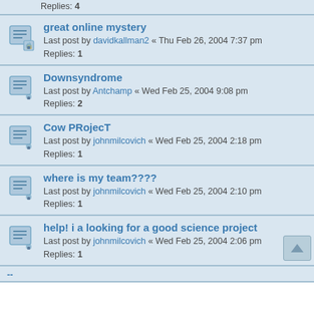Replies: 4
great online mystery — Last post by davidkallman2 « Thu Feb 26, 2004 7:37 pm — Replies: 1
Downsyndrome — Last post by Antchamp « Wed Feb 25, 2004 9:08 pm — Replies: 2
Cow PRojecT — Last post by johnmilcovich « Wed Feb 25, 2004 2:18 pm — Replies: 1
where is my team???? — Last post by johnmilcovich « Wed Feb 25, 2004 2:10 pm — Replies: 1
help! i a looking for a good science project — Last post by johnmilcovich « Wed Feb 25, 2004 2:06 pm — Replies: 1